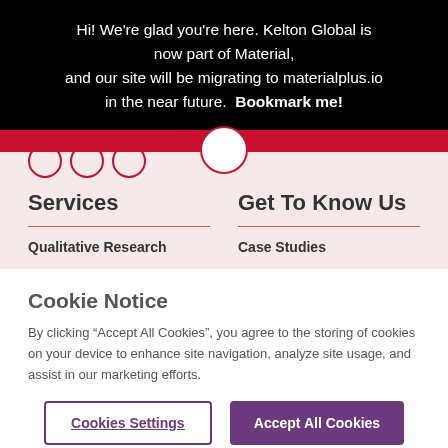Hi! We're glad you're here. Kelton Global is now part of Material, and our site will be migrating to materialplus.io in the near future. Bookmark me!
Services
Get To Know Us
Qualitative Research
Case Studies
Cookie Notice
By clicking “Accept All Cookies”, you agree to the storing of cookies on your device to enhance site navigation, analyze site usage, and assist in our marketing efforts.
Cookies Settings
Accept All Cookies